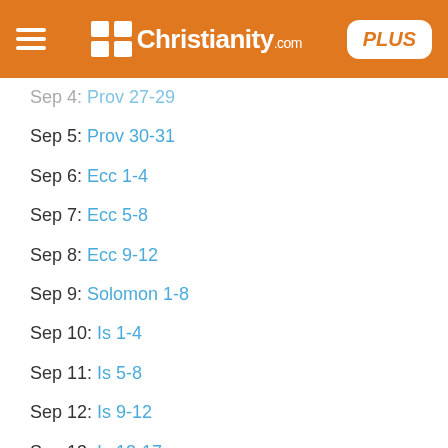Christianity.com PLUS
Sep 4: Prov 27-29
Sep 5: Prov 30-31
Sep 6: Ecc 1-4
Sep 7: Ecc 5-8
Sep 8: Ecc 9-12
Sep 9: Solomon 1-8
Sep 10: Is 1-4
Sep 11: Is 5-8
Sep 12: Is 9-12
Sep 13: Is 13-17
Sep 14: Is 18-22
Sep 15: Is 23-27
Sep 16: Is 28-30